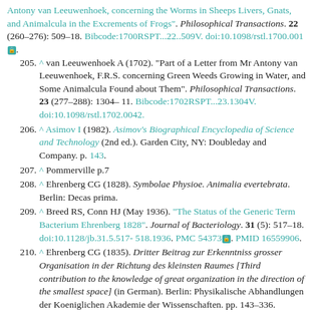(continuation) Antony van Leeuwenhoek, concerning the Worms in Sheeps Livers, Gnats, and Animalcula in the Excrements of Frogs". Philosophical Transactions. 22 (260–276): 509–18. Bibcode:1700RSPT...22..509V. doi:10.1098/rstl.1700.0018.
205. ^ van Leeuwenhoek A (1702). "Part of a Letter from Mr Antony van Leeuwenhoek, F.R.S. concerning Green Weeds Growing in Water, and Some Animalcula Found about Them". Philosophical Transactions. 23 (277–288): 1304–11. Bibcode:1702RSPT...23.1304V. doi:10.1098/rstl.1702.0042.
206. ^ Asimov I (1982). Asimov's Biographical Encyclopedia of Science and Technology (2nd ed.). Garden City, NY: Doubleday and Company. p. 143.
207. ^ Pommerville p.7
208. ^ Ehrenberg CG (1828). Symbolae Physioe. Animalia evertebrata. Berlin: Decas prima.
209. ^ Breed RS, Conn HJ (May 1936). "The Status of the Generic Term Bacterium Ehrenberg 1828". Journal of Bacteriology. 31 (5): 517–18. doi:10.1128/jb.31.5.517-518.1936. PMC 543738. PMID 16559906.
210. ^ Ehrenberg CG (1835). Dritter Beitrag zur Erkenntniss grosser Organisation in der Richtung des kleinsten Raumes [Third contribution to the knowledge of great organization in the direction of the smallest space] (in German). Berlin: Physikalische Abhandlungen der Koeniglichen Akademie der Wissenschaften. pp. 143–336.